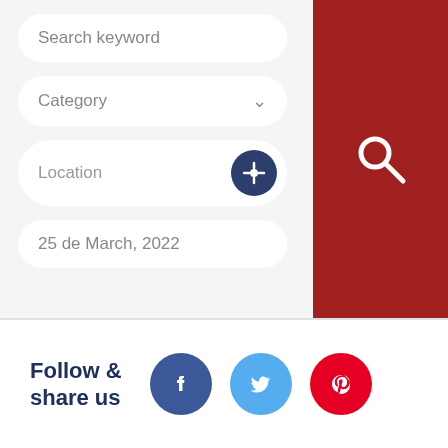[Figure (screenshot): Search keyword input field (rounded white pill shape)]
[Figure (screenshot): Category dropdown field with chevron]
[Figure (screenshot): Location input field with dark blue crosshair button]
[Figure (screenshot): Date field showing 25 de March, 2022]
[Figure (screenshot): Dark red search panel with white magnifying glass icon]
Follow & share us
[Figure (screenshot): Social media icons: Facebook (dark blue), Twitter (blue), Pinterest (red)]